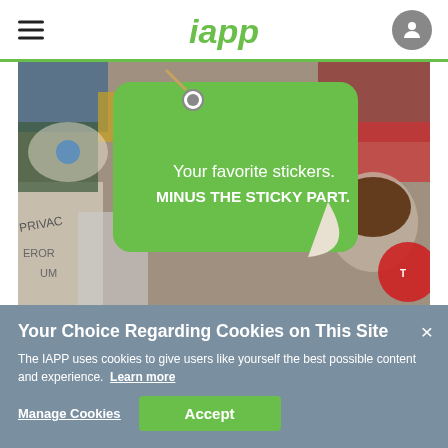iapp
[Figure (photo): Colorful sticker collage with a green tag-shaped sticker reading 'Your favorite stickers. MINUS THE STICKY PART.']
Your Choice Regarding Cookies on This Site
The IAPP uses cookies to give users like yourself the best possible content and experience. Learn more
Manage Cookies  Accept